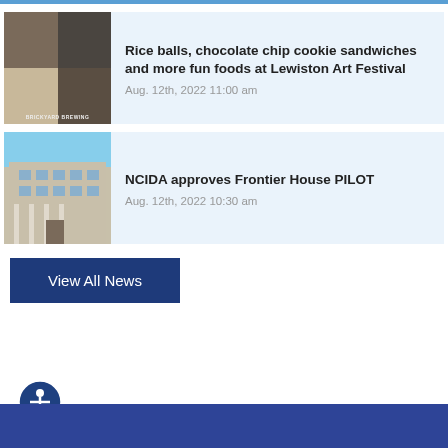[Figure (photo): Collage of food photos at Lewiston Art Festival including people and Brickyard Brewing]
Rice balls, chocolate chip cookie sandwiches and more fun foods at Lewiston Art Festival
Aug. 12th, 2022 11:00 am
[Figure (photo): Photo of Frontier House building exterior]
NCIDA approves Frontier House PILOT
Aug. 12th, 2022 10:30 am
View All News
[Figure (illustration): Accessibility icon - person in circle]